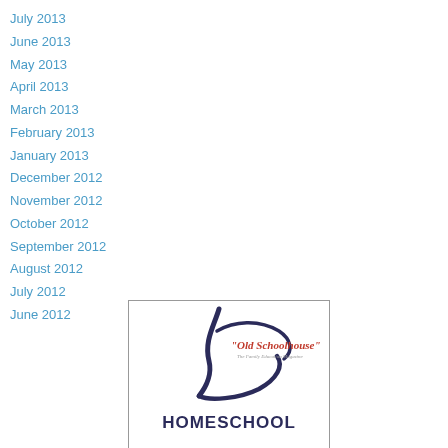July 2013
June 2013
May 2013
April 2013
March 2013
February 2013
January 2013
December 2012
November 2012
October 2012
September 2012
August 2012
July 2012
June 2012
[Figure (logo): The Old Schoolhouse - The Family Education Magazine homeschool logo with stylized figure and text HOMESCHOOL]